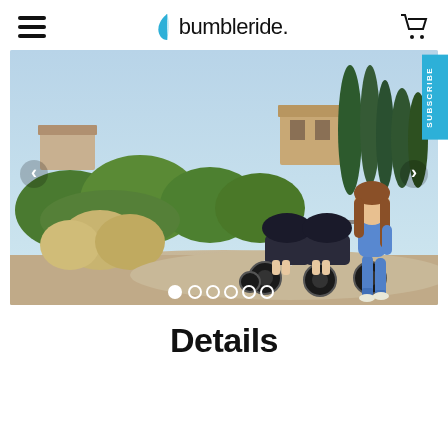bumbleride.
[Figure (photo): Woman pushing a double jogging stroller with two babies along an outdoor path surrounded by lush green Mediterranean-style vegetation and cypress trees. Carousel navigation dots visible at bottom. Left and right navigation arrows visible.]
Details